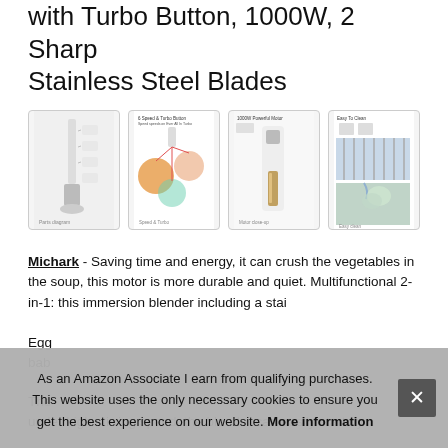with Turbo Button, 1000W, 2 Sharp Stainless Steel Blades
[Figure (photo): Four product images of an immersion blender: (1) labeled parts diagram of blender, (2) 6-speed & turbo button feature with food collage, (3) 1000W powerful motor close-up of blender shaft, (4) Easy-To-Clean images showing washing under faucet and dishwasher safe.]
Michark - Saving time and energy, it can crush the vegetables in the soup, this motor is more durable and quiet. Multifunctional 2-in-1: this immersion blender including a stainless steel blade ... Egg ... baby ...
The ... under high stirring speed, the blender can easily start by
As an Amazon Associate I earn from qualifying purchases. This website uses the only necessary cookies to ensure you get the best experience on our website. More information